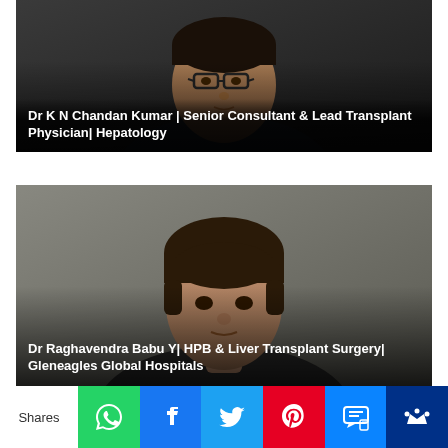[Figure (photo): Photo of Dr K N Chandan Kumar with dark background, wearing glasses and suit]
Dr K N Chandan Kumar | Senior Consultant & Lead Transplant Physician| Hepatology
[Figure (photo): Photo of Dr Raghavendra Babu Y with neutral background]
Dr Raghavendra Babu Y| HPB & Liver Transplant Surgery| Gleneagles Global Hospitals
Shares | WhatsApp | Facebook | Twitter | Pinterest | SMS | Other